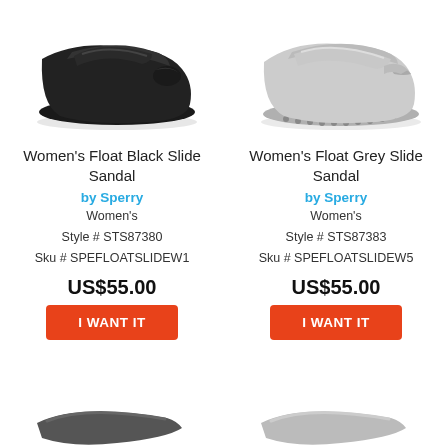[Figure (photo): Women's Float Black Slide Sandal product photo, black slide sandal on white background]
[Figure (photo): Women's Float Grey Slide Sandal product photo, grey slide sandal on white background]
Women's Float Black Slide Sandal
by Sperry
Women's
Style # STS87380
Sku # SPEFLOATSLIDEW1
US$55.00
Women's Float Grey Slide Sandal
by Sperry
Women's
Style # STS87383
Sku # SPEFLOATSLIDEW5
US$55.00
[Figure (photo): Partial product photo at bottom left, another slide sandal cropped]
[Figure (photo): Partial product photo at bottom right, another slide sandal cropped]